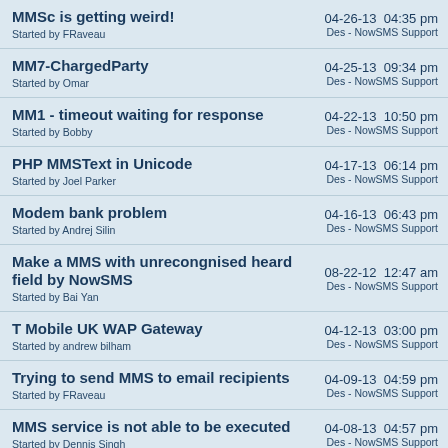MMSc is getting weird! Started by FRaveau | 04-26-13 04:35 pm Des - NowSMS Support
MM7-ChargedParty Started by Omar | 04-25-13 09:34 pm Des - NowSMS Support
MM1 - timeout waiting for response Started by Bobby | 04-22-13 10:50 pm Des - NowSMS Support
PHP MMSText in Unicode Started by Joel Parker | 04-17-13 06:14 pm Des - NowSMS Support
Modem bank problem Started by Andrej Silin | 04-16-13 06:43 pm Des - NowSMS Support
Make a MMS with unrecongnised heard field by NowSMS Started by Bai Yan | 08-22-12 12:47 am Des - NowSMS Support
T Mobile UK WAP Gateway Started by andrew bilham | 04-12-13 03:00 pm Des - NowSMS Support
Trying to send MMS to email recipients Started by FRaveau | 04-09-13 04:59 pm Des - NowSMS Support
MMS service is not able to be executed Started by Dennis Singh | 04-08-13 04:57 pm Des - NowSMS Support
Intercarrier MMS | 04-02-13 04:56 pm